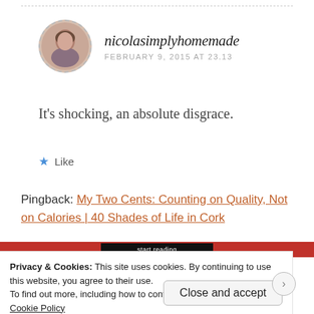[Figure (photo): Circular avatar photo of a woman, with dashed border]
nicolasimplyhomemade
FEBRUARY 9, 2015 AT 23.13
It's shocking, an absolute disgrace.
★ Like
Pingback: My Two Cents: Counting on Quality, Not on Calories | 40 Shades of Life in Cork
[Figure (screenshot): Red banner strip with dark center element showing website header]
Privacy & Cookies: This site uses cookies. By continuing to use this website, you agree to their use.
To find out more, including how to control cookies, see here:
Cookie Policy
Close and accept